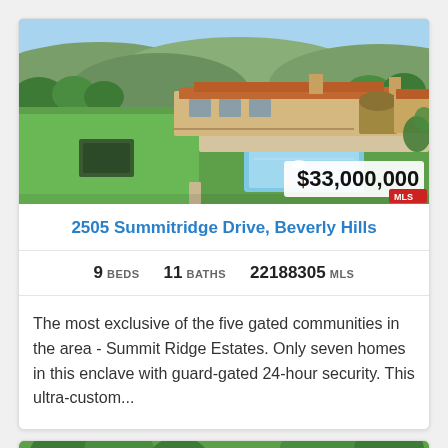[Figure (photo): Aerial view of a large luxury estate with red tile roof, swimming pool, manicured lawns, and hillside backdrop. Price badge showing $33,000,000 overlaid on lower right of photo.]
2505 Summitridge Drive, Beverly Hills
9 BEDS   11 BATHS   22188305 MLS
The most exclusive of the five gated communities in the area - Summit Ridge Estates. Only seven homes in this enclave with guard-gated 24-hour security. This ultra-custom...
[Figure (photo): Aerial view of a second luxury property, showing green trees and landscaping, partially visible at bottom of page.]